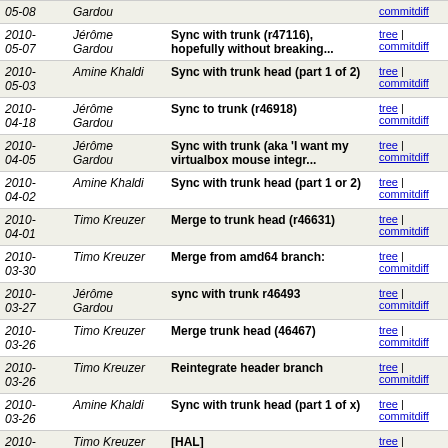| Date | Author | Commit message | Links |
| --- | --- | --- | --- |
| 2010-05-08 | Gardou |  | tree | commitdiff |
| 2010-05-07 | Jérôme Gardou | Sync with trunk (r47116), hopefully without breaking... | tree | commitdiff |
| 2010-05-03 | Amine Khaldi | Sync with trunk head (part 1 of 2) | tree | commitdiff |
| 2010-04-18 | Jérôme Gardou | Sync to trunk (r46918) | tree | commitdiff |
| 2010-04-05 | Jérôme Gardou | Sync with trunk (aka 'I want my virtualbox mouse integr... | tree | commitdiff |
| 2010-04-02 | Amine Khaldi | Sync with trunk head (part 1 or 2) | tree | commitdiff |
| 2010-04-01 | Timo Kreuzer | Merge to trunk head (r46631) | tree | commitdiff |
| 2010-03-30 | Timo Kreuzer | Merge from amd64 branch: | tree | commitdiff |
| 2010-03-27 | Jérôme Gardou | sync with trunk r46493 | tree | commitdiff |
| 2010-03-26 | Timo Kreuzer | Merge trunk head (46467) | tree | commitdiff |
| 2010-03-26 | Timo Kreuzer | Reintegrate header branch | tree | commitdiff |
| 2010-03-26 | Amine Khaldi | Sync with trunk head (part 1 of x) | tree | commitdiff |
| 2010-03-26 | Timo Kreuzer | [HAL] | tree | commitdiff |
| 2010-03-26 | Timo Kreuzer | Merge from amd64 branch: | tree | commitdiff |